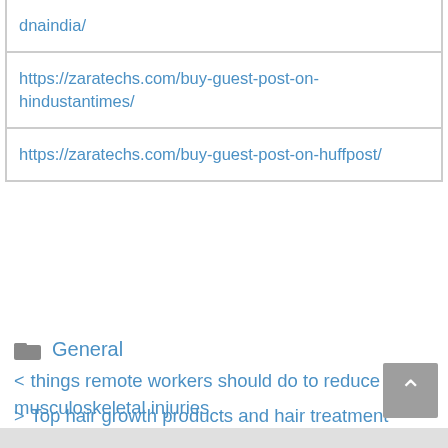| dnaindia/ |
| https://zaratechs.com/buy-guest-post-on-hindustantimes/ |
| https://zaratechs.com/buy-guest-post-on-huffpost/ |
General
< things remote workers should do to reduce musculoskeletal injuries
> Top hair growth products and hair treatment for thinning hair and hair loss